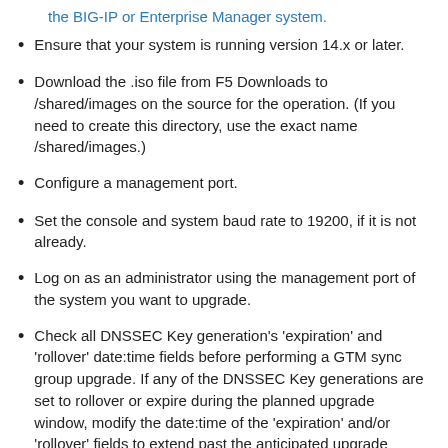the BIG-IP or Enterprise Manager system.
Ensure that your system is running version 14.x or later.
Download the .iso file from F5 Downloads to /shared/images on the source for the operation. (If you need to create this directory, use the exact name /shared/images.)
Configure a management port.
Set the console and system baud rate to 19200, if it is not already.
Log on as an administrator using the management port of the system you want to upgrade.
Check all DNSSEC Key generation's 'expiration' and 'rollover' date:time fields before performing a GTM sync group upgrade. If any of the DNSSEC Key generations are set to rollover or expire during the planned upgrade window, modify the date:time of the 'expiration' and/or 'rollover' fields to extend past the anticipated upgrade window, to a date:time when all units in the sync group will again have GTM config sync enabled.
Boot into an installation location other than the target for